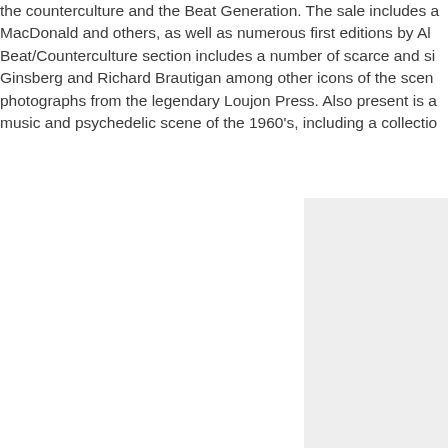the counterculture and the Beat Generation. The sale includes a MacDonald and others, as well as numerous first editions by Al Beat/Counterculture section includes a number of scarce and si Ginsberg and Richard Brautigan among other icons of the scen photographs from the legendary Loujon Press. Also present is a music and psychedelic scene of the 1960's, including a collectio
[Figure (photo): A light gray rectangular image placeholder in the lower right portion of the page.]